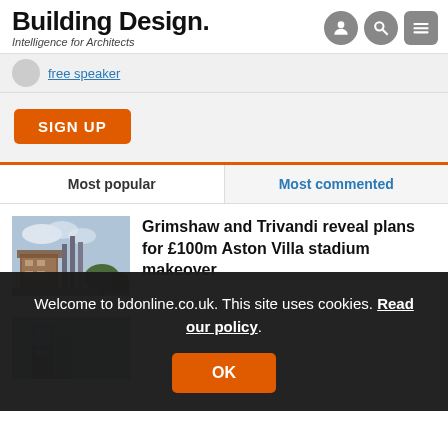Building Design. Intelligence for Architects
free speaker
SIGN UP
Most popular
Most commented
Grimshaw and Trivandi reveal plans for £100m Aston Villa stadium makeover
Welcome to bdonline.co.uk. This site uses cookies. Read our policy.
OK
50 Wonders | Sheila Carney: Farnsworth